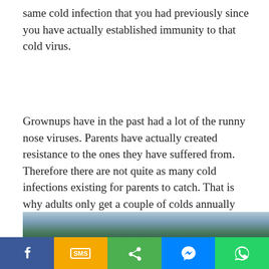same cold infection that you had previously since you have actually established immunity to that cold virus.
Grownups have in the past had a lot of the runny nose viruses. Parents have actually created resistance to the ones they have suffered from. Therefore there are not quite as many cold infections existing for parents to catch. That is why adults only get a couple of colds annually whereas youngsters get a dozen runny noses per year.
[Figure (photo): Partial photo of outdoor landscape with mountains and sky visible at the bottom of the page]
[Figure (infographic): Social sharing toolbar with Facebook, SMS, Share, Messenger, and WhatsApp buttons]